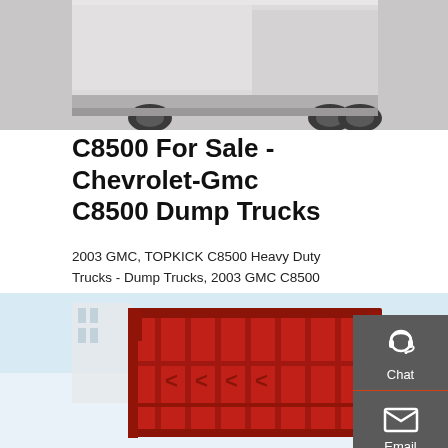[Figure (photo): Top portion of a truck/dump truck photographed from the side, gray asphalt background, partial view showing the body and wheels]
C8500 For Sale - Chevrolet-Gmc C8500 Dump Trucks
2003 GMC, TOPKICK C8500 Heavy Duty Trucks - Dump Trucks, 2003 GMC C8500 dump truck, 3126 Cat strong runner and serviced regularly, has plow mounts but Iron Listing - Website Shinglehouse, PA ...
GET A QUOTE
[Figure (photo): Red dump truck body/bed, close-up view showing red metal panels with reinforcement ribs, blue sky and bare trees in background]
[Figure (infographic): Dark gray sidebar panel with three icons: Chat (headset icon), Email (envelope icon), Contact (speech bubble with dots icon), separated by orange/red dividers]